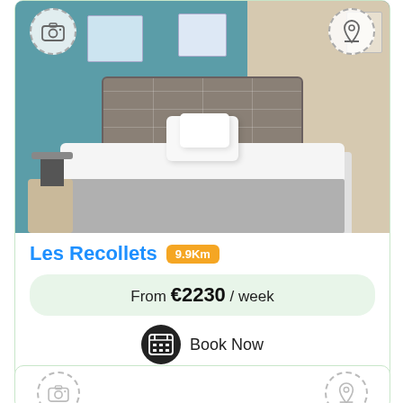[Figure (photo): Bedroom photo with teal/blue accent wall, gray upholstered headboard, white bedding with decorative pillows, bedside table with lamp, and wall art prints. Camera icon overlay top-left and map pin icon overlay top-right.]
Les Recollets 9.9Km
From €2230 / week
Book Now
[Figure (other): Second listing card (partial) showing camera icon and map pin icon placeholders at top, card content blank/loading.]